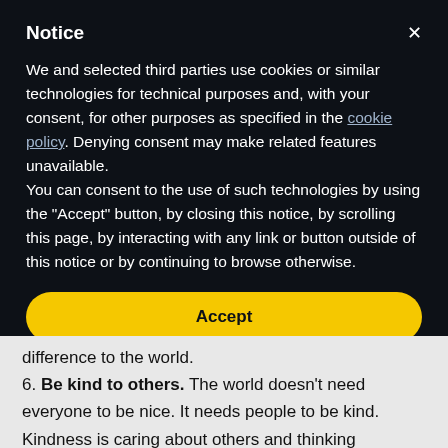Notice
We and selected third parties use cookies or similar technologies for technical purposes and, with your consent, for other purposes as specified in the cookie policy. Denying consent may make related features unavailable.
You can consent to the use of such technologies by using the "Accept" button, by closing this notice, by scrolling this page, by interacting with any link or button outside of this notice or by continuing to browse otherwise.
Accept
Learn more and customize
difference to the world.
6. Be kind to others. The world doesn't need everyone to be nice. It needs people to be kind. Kindness is caring about others and thinking